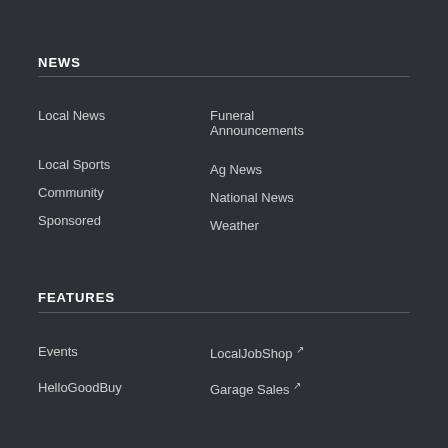NEWS
Local News
Funeral Announcements
Local Sports
Ag News
Community
National News
Sponsored
Weather
FEATURES
Events
LocalJobShop
HelloGoodBuy
Garage Sales